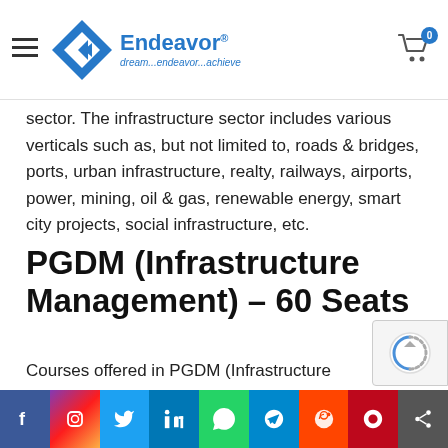Endeavor — dream...endeavor...achieve
sector. The infrastructure sector includes various verticals such as, but not limited to, roads & bridges, ports, urban infrastructure, realty, railways, airports, power, mining, oil & gas, renewable energy, smart city projects, social infrastructure, etc.
PGDM (Infrastructure Management) – 60 Seats
Courses offered in PGDM (Infrastructure Management) employ a mix of pedagogical methods including Case Discussion & Analysis, Lectures, Group Exercises, Simulations, Presentations, Role Plays, Project Work,
Social share bar: Facebook, Instagram, Twitter, LinkedIn, WhatsApp, Telegram, Reddit, Pinterest, Share